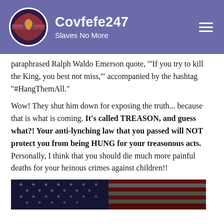Covfefe247 Slaves No More
paraphrased Ralph Waldo Emerson quote, '"If you try to kill the King, you best not miss,'" accompanied by the hashtag "#HangThemAll."
Wow! They shut him down for exposing the truth... because that is what is coming. It's called TREASON, and guess what?! Your anti-lynching law that you passed will NOT protect you from being HUNG for your treasonous acts. Personally, I think that you should die much more painful deaths for your heinous crimes against children!!
[Figure (photo): Distressed American flag image, dark toned with red stripes and stars visible]